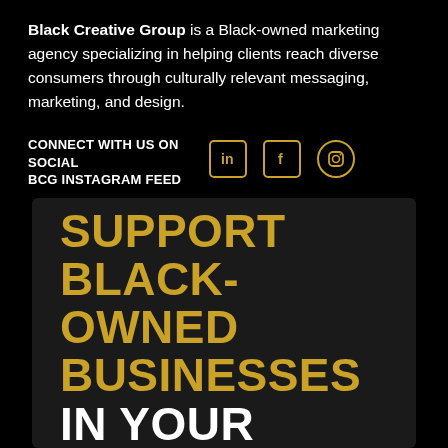Black Creative Group is a Black-owned marketing agency specializing in helping clients reach diverse consumers through culturally relevant messaging, marketing, and design.
CONNECT WITH US ON SOCIAL
BCG INSTAGRAM FEED
[Figure (infographic): Social media icons: LinkedIn (square with 'in'), Facebook (square with 'f'), Instagram (circle with camera icon), all in gold/yellow outline style]
[Figure (infographic): Dark background promotional card with bold text reading 'SUPPORT BLACK-OWNED BUSINESSES IN YOUR' — 'SUPPORT BLACK-OWNED BUSINESSES' in gold/yellow, 'IN YOUR' in white]